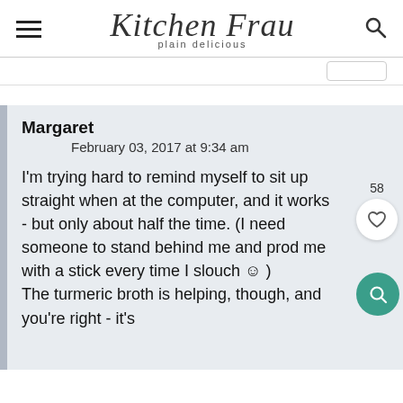Kitchen Frau — plain delicious
Margaret
February 03, 2017 at 9:34 am

I'm trying hard to remind myself to sit up straight when at the computer, and it works - but only about half the time. (I need someone to stand behind me and prod me with a stick every time I slouch ☺ )
The turmeric broth is helping, though, and you're right - it's